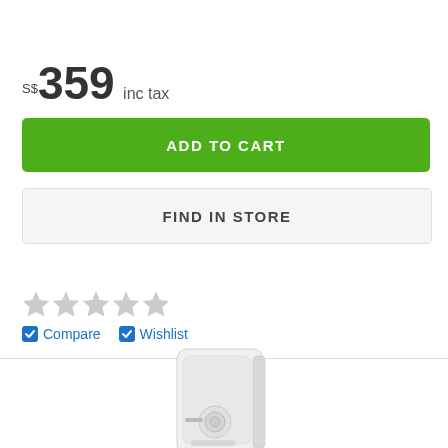S$359 inc tax
ADD TO CART
FIND IN STORE
[Figure (other): Five empty/grey star rating icons in a row]
Compare   Wishlist
[Figure (photo): White wall-mounted water heater device with circular knob and brand logo]